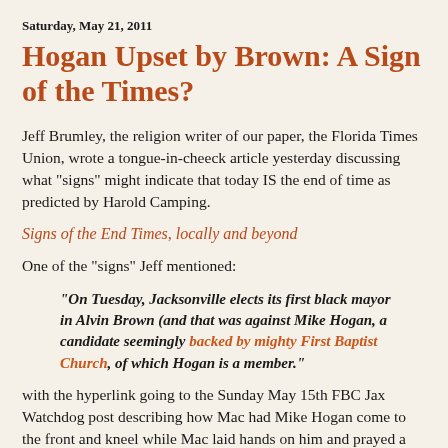Saturday, May 21, 2011
Hogan Upset by Brown: A Sign of the Times?
Jeff Brumley, the religion writer of our paper, the Florida Times Union, wrote a tongue-in-cheeck article yesterday discussing what "signs" might indicate that today IS the end of time as predicted by Harold Camping.
Signs of the End Times, locally and beyond
One of the "signs" Jeff mentioned:
"On Tuesday, Jacksonville elects its first black mayor in Alvin Brown (and that was against Mike Hogan, a candidate seemingly backed by mighty First Baptist Church, of which Hogan is a member."
with the hyperlink going to the Sunday May 15th FBC Jax Watchdog post describing how Mac had Mike Hogan come to the front and kneel while Mac laid hands on him and prayed a length ..."God, give us a godly, humble, kind..."